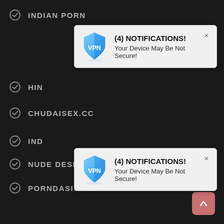INDIAN PORN
[Figure (screenshot): VPN notification popup saying '(4) NOTIFICATIONS! Your Device May Be Not Secure!']
HINDI (partial, obscured)
CHUDAISEX.CC
[Figure (screenshot): Second VPN notification popup saying '(4) NOTIFICATIONS! Your Device May Be Not Secure!']
IND (partial, obscured)
NUDE DESI PORN
PORNDASI.CC
DIRTY INDIAN FUCK
INDIAN PORN MOVIES
DESI X VIDEOS